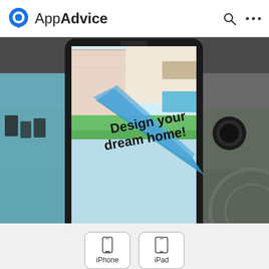AppAdvice
[Figure (screenshot): Screenshot of a home design mobile game showing an isometric view of furnished rooms with text 'Design your dream home!' overlaid on a smartphone mockup, set against a dark background]
[Figure (infographic): iPhone and iPad device type selector buttons]
[Figure (infographic): Red FREE button with 'FREE' in large bold white text and 'in the App Store' subtitle]